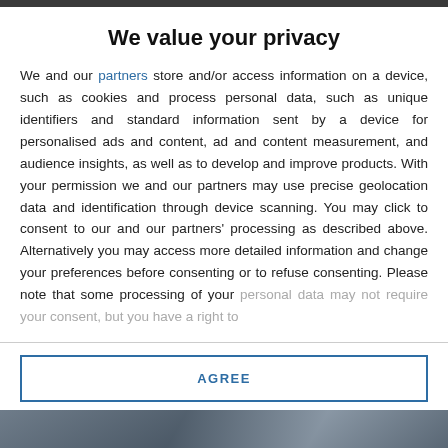We value your privacy
We and our partners store and/or access information on a device, such as cookies and process personal data, such as unique identifiers and standard information sent by a device for personalised ads and content, ad and content measurement, and audience insights, as well as to develop and improve products. With your permission we and our partners may use precise geolocation data and identification through device scanning. You may click to consent to our and our partners' processing as described above. Alternatively you may access more detailed information and change your preferences before consenting or to refuse consenting. Please note that some processing of your personal data may not require your consent, but you have a right to
AGREE
MORE OPTIONS
[Figure (photo): Partial photo visible at bottom of page, appears to show people, partially obscured]